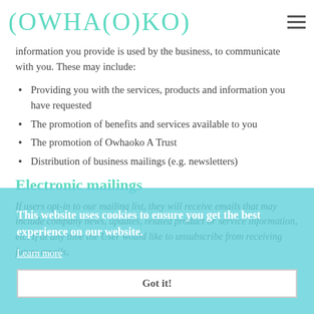OWHAOKO
information you provide is used by the business, to communicate with you. These may include:
Providing you with the services, products and information you have requested
The promotion of benefits and services available to you
The promotion of Owhaoko A Trust
Distribution of business mailings (e.g. newsletters)
Electronic mailings
If users opt-in to our mailing list, they will receive emails that may include company news, updates, related product or service information, etc. If at any time the User would like to unsubscribe from receiving future emails,
This website uses cookies to ensure you get the best experience on our website.
Learn more
Got it!